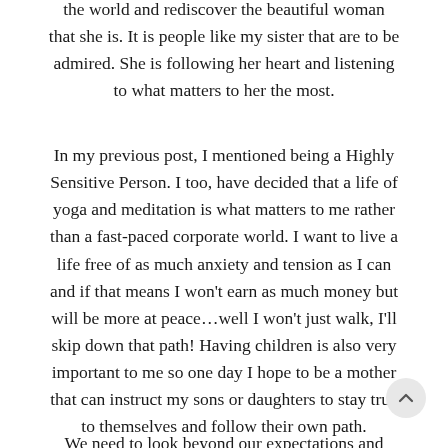the world and rediscover the beautiful woman that she is. It is people like my sister that are to be admired. She is following her heart and listening to what matters to her the most.
In my previous post, I mentioned being a Highly Sensitive Person. I too, have decided that a life of yoga and meditation is what matters to me rather than a fast-paced corporate world. I want to live a life free of as much anxiety and tension as I can and if that means I won't earn as much money but will be more at peace…well I won't just walk, I'll skip down that path! Having children is also very important to me so one day I hope to be a mother that can instruct my sons or daughters to stay true to themselves and follow their own path.
We need to look beyond our expectations and